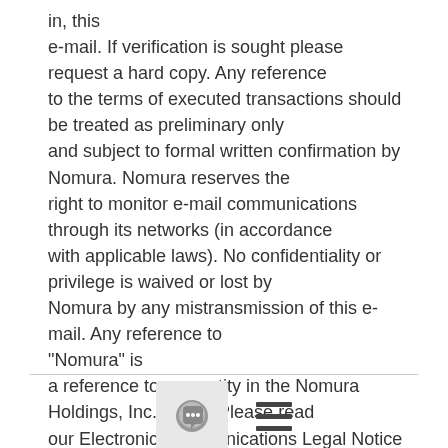in, this e-mail. If verification is sought please request a hard copy. Any reference to the terms of executed transactions should be treated as preliminary only and subject to formal written confirmation by Nomura. Nomura reserves the right to monitor e-mail communications through its networks (in accordance with applicable laws). No confidentiality or privilege is waived or lost by Nomura by any mistransmission of this e-mail. Any reference to "Nomura" is a reference to any entity in the Nomura Holdings, Inc. group. Please read our Electronic Communications Legal Notice which forms part of this e-mail: http://www.Nomura.com/email_disclaimer.htm
[Figure (other): Footer area with a chat bubble icon button and a hamburger menu icon]